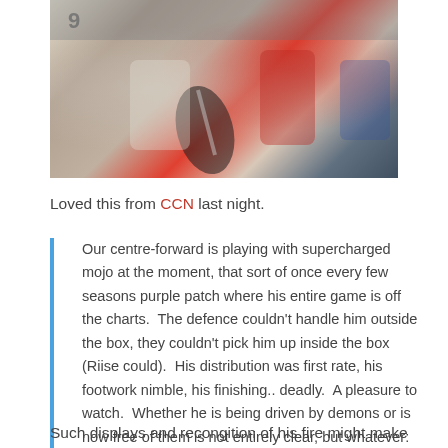[Figure (photo): Sports action photo showing football/soccer players in a physical challenge, one in white kit, one in red kit, with crowd in background]
Loved this from CCN last night.
Our centre-forward is playing with supercharged mojo at the moment, that sort of once every few seasons purple patch where his entire game is off the charts.  The defence couldn't handle him outside the box, they couldn't pick him up inside the box (Riise could).  His distribution was first rate, his footwork nimble, his finishing.. deadly.  A pleasure to watch.  Whether he is being driven by demons or is now free of them is not entirely clear, but whatever:  he's on fire, as they say.
Such displays and recongition of his fire might make